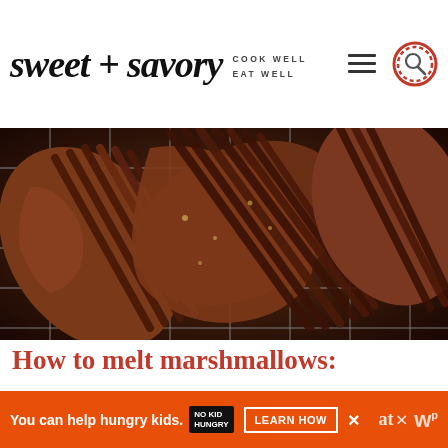sweet + savory COOK WELL EAT WELL
[Figure (photo): Close-up overhead photo of sliced sweet potatoes arranged on a wire grill rack, dark background with warm brown tones]
How to melt marshmallows:
Place the marshmallows with a touch water in a double-boiler. Make sure the top bowl with marshmallows
You can help hungry kids. NO KID HUNGRY LEARN HOW